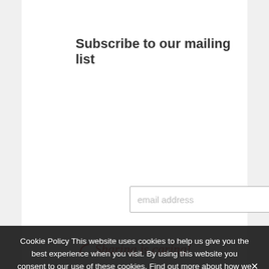Subscribe to our mailing list
email address
Subscribe
Sharing is caring!
Cookie Policy This website uses cookies to help us give you the best experience when you visit. By using this website you consent to our use of these cookies. Find out more about how we use cookies and how to manage them by reading our cookie notice.
[Figure (infographic): Social sharing bar with Twitter, Facebook, Pinterest, Reddit, and More buttons]